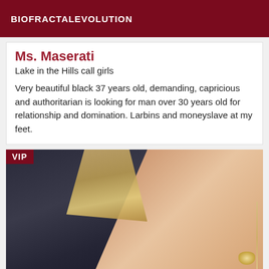BIOFRACTALEVOLUTION
Ms. Maserati
Lake in the Hills call girls
Very beautiful black 37 years old, demanding, capricious and authoritarian is looking for man over 30 years old for relationship and domination. Larbins and moneyslave at my feet.
[Figure (photo): Close-up photo of a woman wearing a dark top, with blonde hair and a silver/crystal body chain jewelry, VIP badge overlay in top-left corner.]